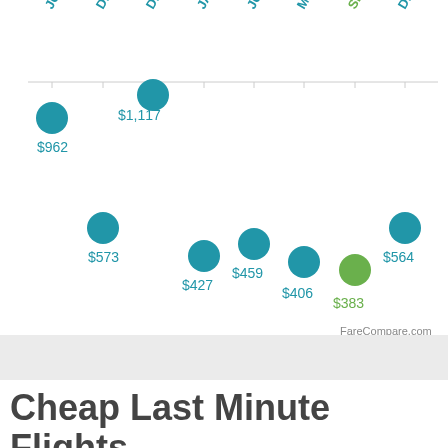[Figure (scatter-plot): Flight prices by month]
Cheap Last Minute Flights